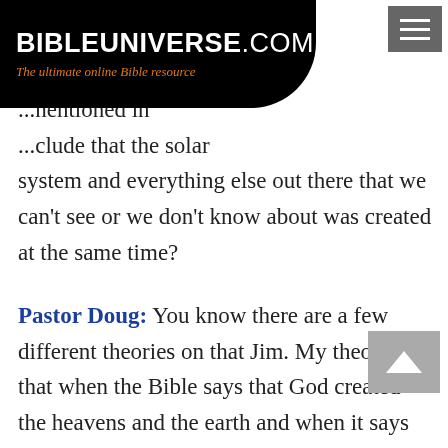BIBLEUNIVERSE.COM — The ultimate online Bible resource
mentioned in ...clude that the solar system and everything else out there that we can't see or we don't know about was created at the same time?
Pastor Doug: You know there are a few different theories on that Jim. My theory is that when the Bible says that God created the heavens and the earth and when it says on the 4th day He made the sun, moon and stars - I believe at that time God made the